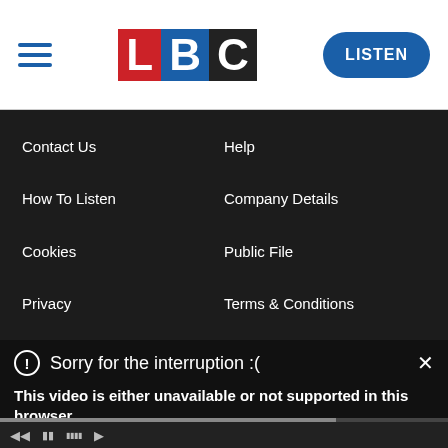[Figure (logo): LBC radio website header with hamburger menu, LBC logo (L in red, B in blue, C in black/dark), and blue LISTEN button]
Contact Us
Help
How To Listen
Company Details
Cookies
Public File
Privacy
Terms & Conditions
[Figure (screenshot): Video error overlay on dark background showing: 'Sorry for the interruption :(' header with close X, bold error message 'This video is either unavailable or not supported in this browser.', 'Please refresh your browser.', Error Code: MEDIA_ERR_SRC_NOT_SUPPORTED, mute icon, LBC's best m (truncated), progress bar and playback controls]